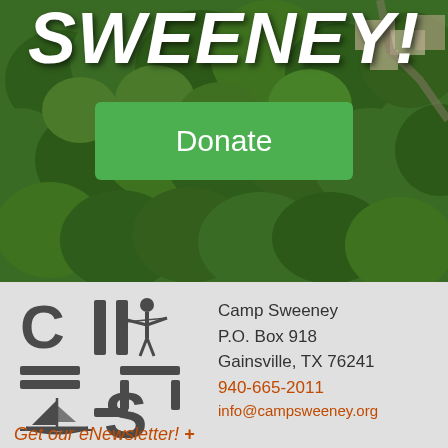[Figure (photo): Aerial drone view of Camp Sweeney showing dense green tree canopy with buildings visible in the background. Bold white italic text 'SWEENEY!' overlaid at the top. A green 'Donate' button overlaid in the center.]
SWEENEY!
Donate
[Figure (logo): Camp Sweeney logo featuring stylized letters C, H, S with an archer figure and a sailboat, rendered in dark gray/charcoal color]
Camp Sweeney
P.O. Box 918
Gainsville, TX 76241
940-665-2011
info@campsweeney.org
Get our eNewsletter! +